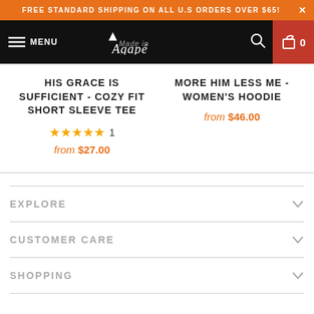FREE STANDARD SHIPPING ON ALL U.S ORDERS OVER $65! ×
[Figure (logo): Made in Agapé logo on black navigation bar with hamburger menu, search icon, and cart icon showing 0 items]
HIS GRACE IS SUFFICIENT - COZY FIT SHORT SLEEVE TEE
★★★★★ 1
from $27.00
MORE HIM LESS ME - WOMEN'S HOODIE
from $46.00
EXPLORE
CUSTOMER CARE
SHOPPING